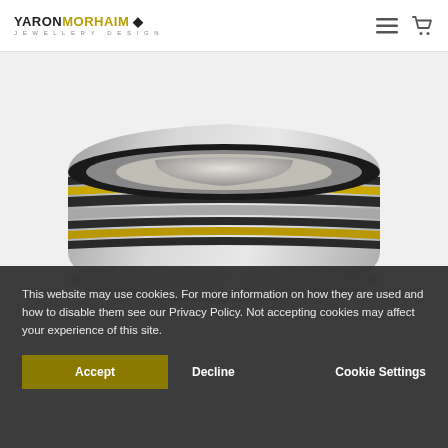YARON MORHAIM JEWELLERY DESIGN
[Figure (photo): Close-up photo of a wide silver and gold band ring with hammered texture and alternating black oxidized and gold stripes, shown at an angle on a white background.]
This website may use cookies. For more information on how they are used and how to disable them see our Privacy Policy. Not accepting cookies may affect your experience of this site.
Accept
Decline
Cookie Settings